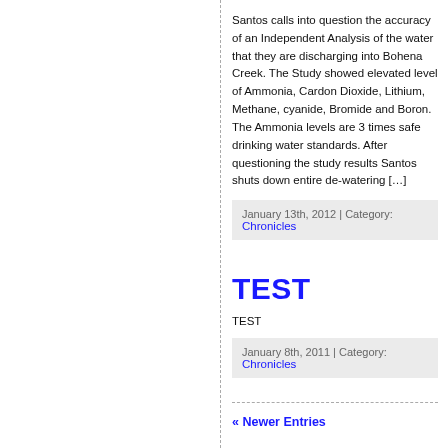Santos calls into question the accuracy of an Independent Analysis of the water that they are discharging into Bohena Creek. The Study showed elevated level of Ammonia, Cardon Dioxide, Lithium, Methane, cyanide, Bromide and Boron. The Ammonia levels are 3 times safe drinking water standards. After questioning the study results Santos shuts down entire de-watering […]
January 13th, 2012 | Category: Chronicles
TEST
TEST
January 8th, 2011 | Category: Chronicles
« Newer Entries